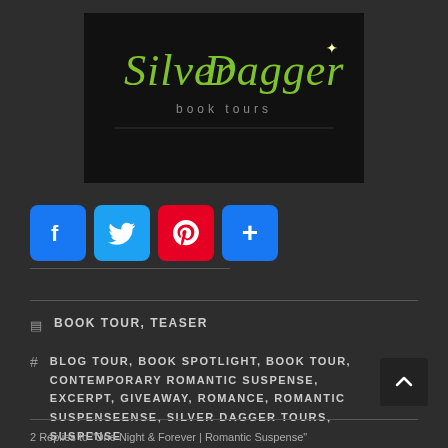[Figure (logo): Silver Dagger Book Tours logo — cursive green text on black background with 'book tours' subtitle]
[Figure (infographic): Social sharing buttons: Facebook (blue), Twitter (blue), Pinterest (red), More/Plus (blue)]
BOOK TOUR, TEASER
BLOG TOUR, BOOK SPOTLIGHT, BOOK TOUR, CONTEMPORARY ROMANTIC SUSPENSE, EXCERPT, GIVEAWAY, ROMANCE, ROMANTIC SUSPENSEENSE, SILVER DAGGER TOURS, SUSPENSE
2 Replies to "One Night & Forever | Romantic Suspense"